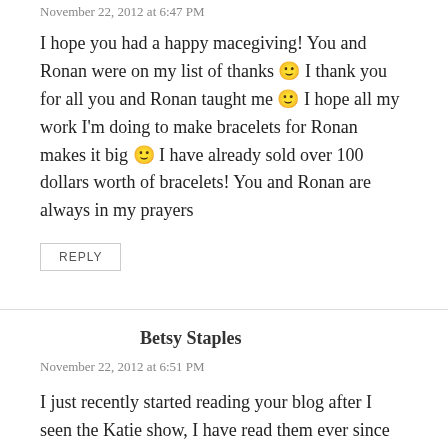November 22, 2012 at 6:47 PM
I hope you had a happy macegiving! You and Ronan were on my list of thanks 🙂 I thank you for all you and Ronan taught me 🙂 I hope all my work I'm doing to make bracelets for Ronan makes it big 🙂 I have already sold over 100 dollars worth of bracelets! You and Ronan are always in my prayers
REPLY
Betsy Staples
November 22, 2012 at 6:51 PM
I just recently started reading your blog after I seen the Katie show, I have read them ever since that day and cry every time !! Ronan was the sweetest lil face I have ever seen. Recently I was riding in the car with my daughter taylor who is 13 and i was listening to